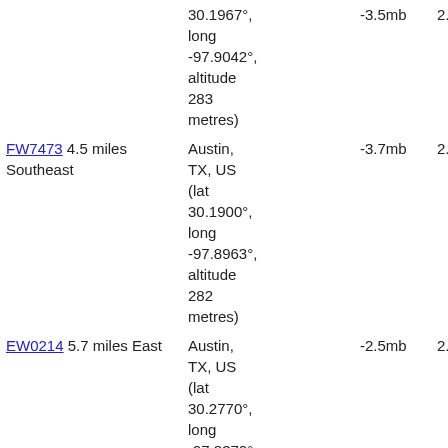| Station | Location | Col3 | Col4 |
| --- | --- | --- | --- |
|  | 30.1967°, long -97.9042°, altitude 283 metres) | -3.5mb | 2.2 |
| FW7473 4.5 miles Southeast | Austin, TX, US (lat 30.1900°, long -97.8963°, altitude 282 metres) | -3.7mb | 2.7 |
| EW0214 5.7 miles East | Austin, TX, US (lat 30.2770°, long -97.8370°, altitude 223 metres) | -2.5mb | 2.4 |